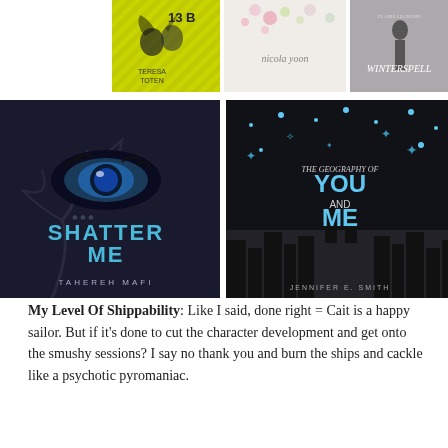[Figure (illustration): Three book covers partially visible at top: '13B' by Teresa Toten (yellow cover with silhouette), a floral cover by Nicola Yoon, and 'Winterspell' by Claire Legrand]
[Figure (illustration): Two book covers: 'Shatter Me' by Tahereh Mafi (dark cover with blue eye) and 'The Geography of You and Me' by Jennifer E. Smith (silhouette of couple against city skyline with stars)]
My Level Of Shippability: Like I said, done right = Cait is a happy sailor. But if it's done to cut the character development and get onto the smushy sessions? I say no thank you and burn the ships and cackle like a psychotic pyromaniac.